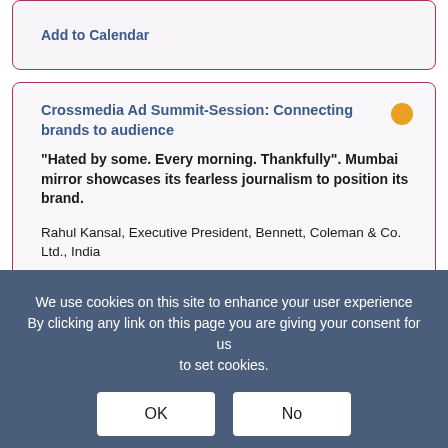Add to Calendar
Crossmedia Ad Summit-Session: Connecting brands to audience
“Hated by some. Every morning. Thankfully”. Mumbai mirror showcases its fearless journalism to position its brand.
Rahul Kansal, Executive President, Bennett, Coleman & Co. Ltd., India
Brand building through social events. Sakal organised
We use cookies on this site to enhance your user experience By clicking any link on this page you are giving your consent for us to set cookies.
OK
No
Gillette guard joins together to help students in their career. A case study.
Rituraj Dasgupta, Sr. Manager - Sales (Dailies), ABP Pvt Ltd,